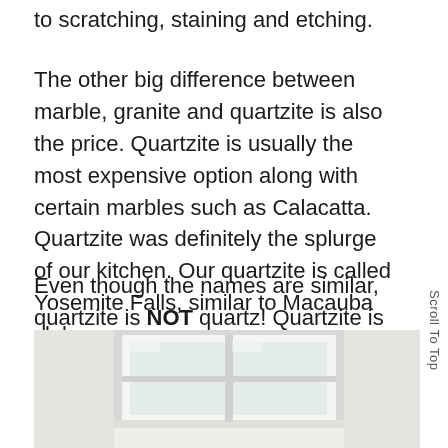to scratching, staining and etching.
The other big difference between marble, granite and quartzite is also the price. Quartzite is usually the most expensive option along with certain marbles such as Calacatta. Quartzite was definitely the splurge of our kitchen. Our quartzite is called Yosemite Falls, similar to Macauba slabs.
Even though the names are similar, quartzite is NOT quartz! Quartzite is a natural stone while quartz is manmade.
[Figure (photo): Interior kitchen photo showing a white window and light-colored walls/countertop area]